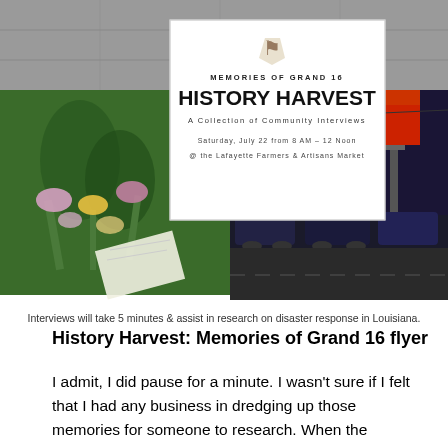[Figure (photo): Collage image showing a community flyer for History Harvest: Memories of Grand 16. The flyer includes a Louisiana state silhouette logo, the text 'MEMORIES OF GRAND 16', 'HISTORY HARVEST', 'A Collection of Community Interviews', 'Saturday, July 22 from 8 AM - 12 Noon @ the Lafayette Farmers & Artisans Market'. Background shows photos of flowers/memorial items on grass and police cars with flashing lights near a cinema sign at night.]
Interviews will take 5 minutes & assist in research on disaster response in Louisiana.
History Harvest: Memories of Grand 16 flyer
I admit, I did pause for a minute. I wasn't sure if I felt that I had any business in dredging up those memories for someone to research. When the shooting occurred in July 2015, I was out of state on a road trip with a friend of mine in that attitude of total bliss that one can only find in a car with a friend you love; I was wildly removed from the drama that was going on in my hometown. When I came back some three weeks after the shooting, the atmosphere in Lafayette was